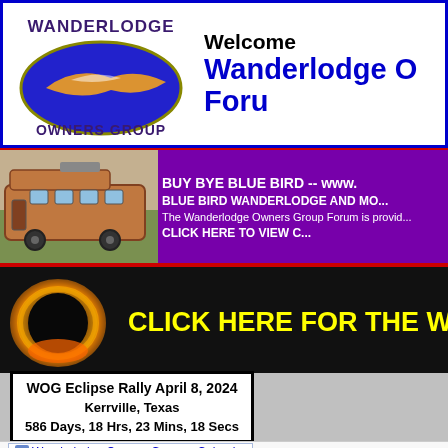[Figure (logo): Wanderlodge Owners Group oval logo with blue background and golden bird]
Welcome
Wanderlodge O
Foru
[Figure (photo): Vintage Blue Bird Wanderlodge bus parked outdoors]
BUY BYE BLUE BIRD -- www... BLUE BIRD WANDERLODGE AND MO... The Wanderlodge Owners Group Forum is provid... CLICK HERE TO VIEW C...
[Figure (photo): Solar eclipse image with orange corona glow on black background]
CLICK HERE FOR THE WO
WOG Eclipse Rally April 8, 2024
Kerrville, Texas
586 Days, 18 Hrs, 23 Mins, 18 Secs
Wanderlodge Owners Group > Calendar